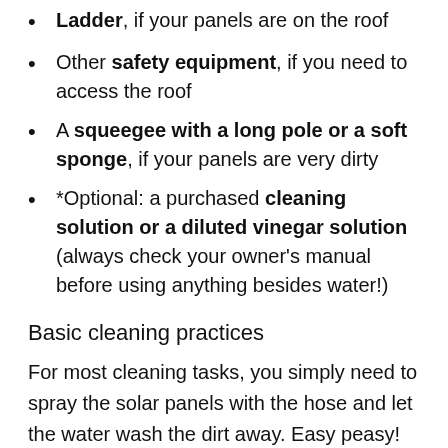Ladder, if your panels are on the roof
Other safety equipment, if you need to access the roof
A squeegee with a long pole or a soft sponge, if your panels are very dirty
*Optional: a purchased cleaning solution or a diluted vinegar solution (always check your owner’s manual before using anything besides water!)
Basic cleaning practices
For most cleaning tasks, you simply need to spray the solar panels with the hose and let the water wash the dirt away. Easy peasy!